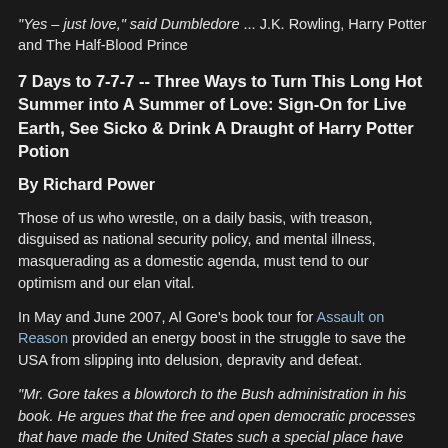“Yes – just love,” said Dumbledore ... J.K. Rowling, Harry Potter and The Half-Blood Prince
7 Days to 7-7-7 -- Three Ways to Turn This Long Hot Summer into A Summer of Love: Sign-On for Live Earth, See Sicko & Drink A Draught of Harry Potter Potion
By Richard Power
Those of us who wrestle, on a daily basis, with treason, disguised as national security policy, and mental illness, masquerading as a domestic agenda, must tend to our optimism and our elan vital.
In May and June 2007, Al Gore's book tour for Assault on Reason provided an energy boost in the struggle to save the USA from slipping into delusion, depravity and defeat.
"Mr. Gore takes a blowtorch to the Bush administration in his book. He argues that the free and open democratic processes that have made the United States such a special place have been undermined by the administration's